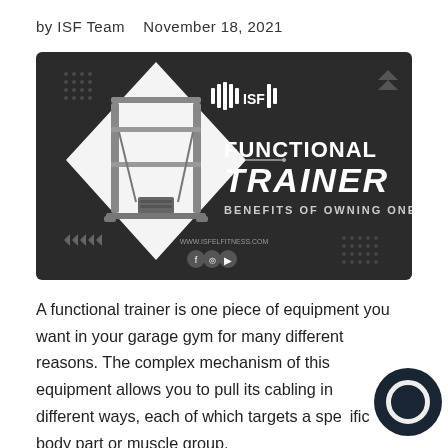by ISF Team   November 18, 2021
[Figure (photo): Dark-background promotional banner for ISF Functional Trainer: 'Benefits of Owning One'. Shows a functional trainer cable machine in a white diamond shape on the left, ISF logo top center-right, bold text 'FUNCTIONAL TRAINER BENEFITS OF OWNING ONE' on the right. Social media icons and website URL at the bottom. Decorative dot patterns and arrow icons in corners.]
A functional trainer is one piece of equipment you want in your garage gym for many different reasons. The complex mechanism of this equipment allows you to pull its cabling in different ways, each of which targets a specific body part or muscle group.